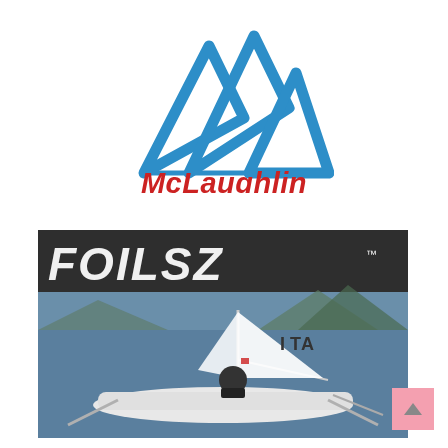[Figure (logo): McLaughlin logo: blue mountain/sail peaks geometric mark above red bold italic 'McLaughlin' text]
[Figure (photo): FOILSZ product photo: a person sailing a white foiling dinghy (Laser-type) on blue water with mountains in background; large white italic 'FOILSZ' text with TM mark overlaid on dark grey banner at top of image; sail shows 'ITA' letters]